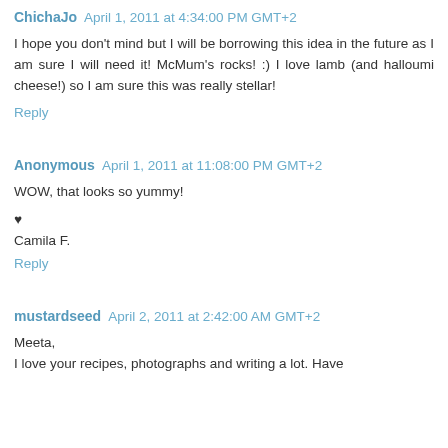ChichaJo April 1, 2011 at 4:34:00 PM GMT+2
I hope you don't mind but I will be borrowing this idea in the future as I am sure I will need it! McMum's rocks! :) I love lamb (and halloumi cheese!) so I am sure this was really stellar!
Reply
Anonymous April 1, 2011 at 11:08:00 PM GMT+2
WOW, that looks so yummy!
♥
Camila F.
Reply
mustardseed April 2, 2011 at 2:42:00 AM GMT+2
Meeta,
I love your recipes, photographs and writing a lot. Have